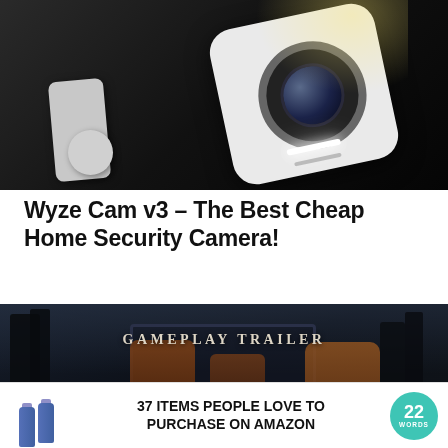[Figure (photo): Close-up photo of a Wyze Cam v3 security camera, white cube-shaped body with a wide-angle lens, mounted on an articulating arm, against a dark background with warm light glow in upper right]
Wyze Cam v3 – The Best Cheap Home Security Camera!
[Figure (screenshot): Video game gameplay trailer screenshot showing dark fantasy scene with characters in a misty forest environment. Text reads GAMEPLAY TRAILER. A close button (X) is visible in the lower right corner.]
[Figure (photo): Advertisement banner: two blue spray bottles on the left, text '37 ITEMS PEOPLE LOVE TO PURCHASE ON AMAZON', teal circular badge with '22 WORDS' on the right]